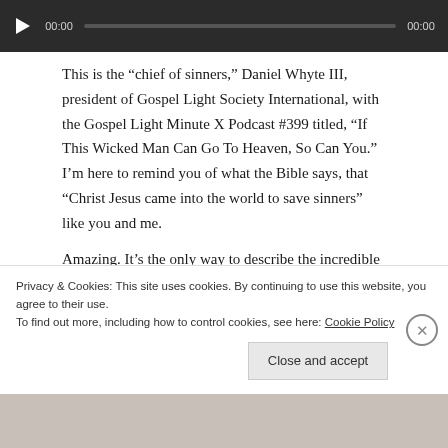[Figure (screenshot): Audio player bar with play button, timestamp 00:00, progress bar, and end timestamp 00:00 on dark background]
This is the “chief of sinners,” Daniel Whyte III, president of Gospel Light Society International, with the Gospel Light Minute X Podcast #399 titled, “If This Wicked Man Can Go To Heaven, So Can You.” I’m here to remind you of what the Bible says, that “Christ Jesus came into the world to save sinners” like you and me.
Amazing. It’s the only way to describe the incredible
Privacy & Cookies: This site uses cookies. By continuing to use this website, you agree to their use.
To find out more, including how to control cookies, see here: Cookie Policy
Close and accept